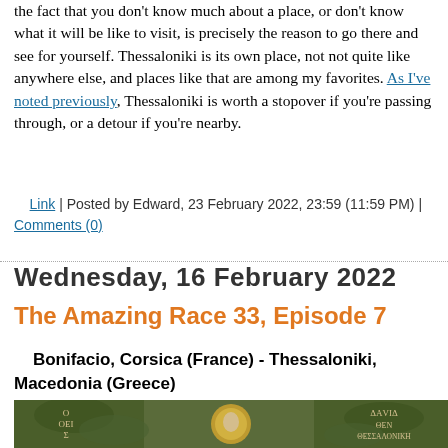the fact that you don't know much about a place, or don't know what it will be like to visit, is precisely the reason to go there and see for yourself. Thessaloniki is its own place, not not quite like anywhere else, and places like that are among my favorites. As I've noted previously, Thessaloniki is worth a stopover if you're passing through, or a detour if you're nearby.
Link | Posted by Edward, 23 February 2022, 23:59 (11:59 PM) | Comments (0)
Wednesday, 16 February 2022
The Amazing Race 33, Episode 7
Bonifacio, Corsica (France) - Thessaloniki, Macedonia (Greece)
[Figure (photo): Byzantine-style religious fresco or icon painting showing a saint figure with halo surrounded by foliage, with Greek text overlaid including 'ΔΑVΙΔ ΘΕΝ ΘΕΣΣΑΛΟΝΙΚΗ' and 'Ο ΟΕΙ Σ' on the left side]